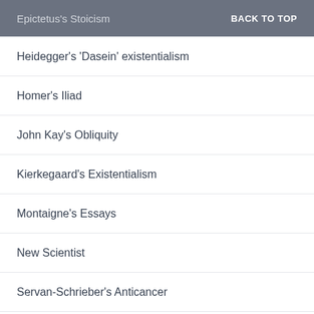Epictetus's Stoicism  BACK TO TOP
Heidegger's 'Dasein' existentialism
Homer's Iliad
John Kay's Obliquity
Kierkegaard's Existentialism
Montaigne's Essays
New Scientist
Servan-Schrieber's Anticancer
Sextus Empiricus's Pyrrhonian Scepticism